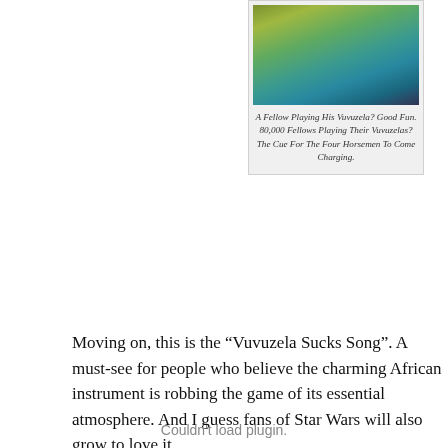[Figure (photo): Photo of a person wearing a yellow and teal Adidas jacket, playing a vuvuzela]
A Fellow Playing His Vuvuzela? Good Fun. 80,000 Fellows Playing Their Vuvuzelas? The Cue For The Four Horsemen To Come Charging.
Moving on, this is the “Vuvuzela Sucks Song”. A must-see for people who believe the charming African instrument is robbing the game of its essential atmosphere. And I guess fans of Star Wars will also grow to love it.
Couldn't load plugin.